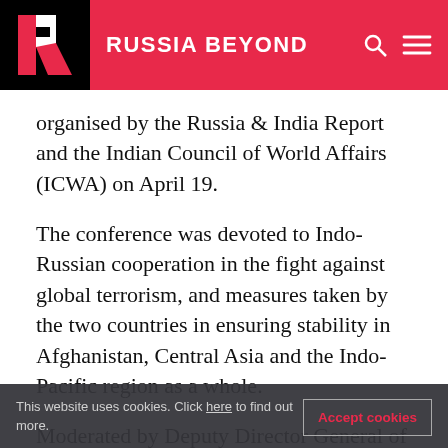RUSSIA BEYOND
organised by the Russia & India Report and the Indian Council of World Affairs (ICWA) on April 19.
The conference was devoted to Indo-Russian cooperation in the fight against global terrorism, and measures taken by the two countries in ensuring stability in Afghanistan, Central Asia and the Indo-Pacific region as a whole.
Moderated by Deputy Director General of ICWA Ajaneesh Kumar and Executive Editor of Russia &
This website uses cookies. Click here to find out more.
Accept cookies